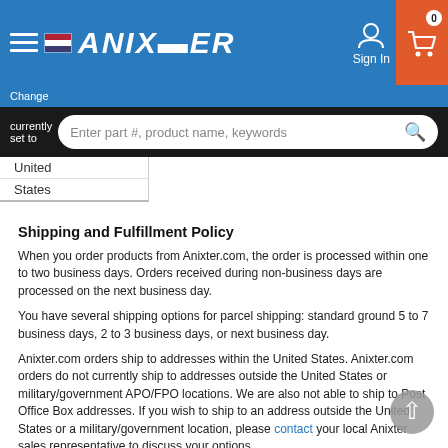[Figure (screenshot): Anixter website header with blue background, hamburger menu, flag icon, Anixter logo in white italic, Sign In icon, and orange cart icon with badge showing 0]
Change
currently
set to
United
States
Shipping and Fulfillment Policy
When you order products from Anixter.com, the order is processed within one to two business days. Orders received during non-business days are processed on the next business day.
You have several shipping options for parcel shipping: standard ground 5 to 7 business days, 2 to 3 business days, or next business day.
Anixter.com orders ship to addresses within the United States. Anixter.com orders do not currently ship to addresses outside the United States or military/government APO/FPO locations. We are also not able to ship to Post Office Box addresses. If you wish to ship to an address outside the United States or a military/government location, please contact your local Anixter sales representative to discuss your options.